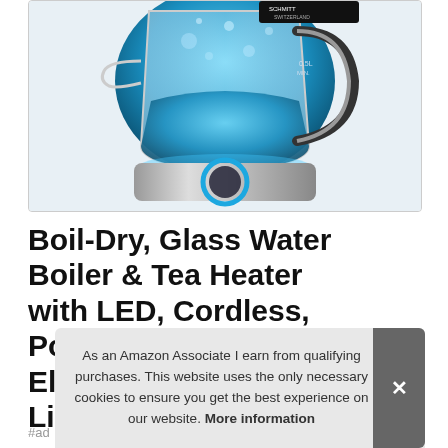[Figure (photo): Photo of a glass electric kettle with blue LED lighting and stainless steel base, from Pohl Schmitt brand. The kettle is filled with boiling water visible inside the glass body.]
Boil-Dry, Glass Water Boiler & Tea Heater with LED, Cordless, Pohl Schmitt 1.7L Electric Kettle with Up… Lic…
As an Amazon Associate I earn from qualifying purchases. This website uses the only necessary cookies to ensure you get the best experience on our website. More information
#ad